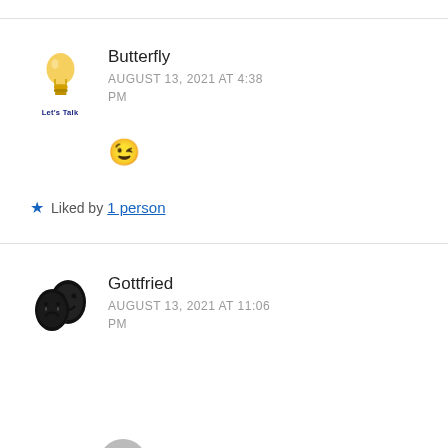Butterfly
AUGUST 13, 2021 AT 4:38 PM
😉
★ Liked by 1 person
Gottfried
AUGUST 13, 2021 AT 11:06 PM